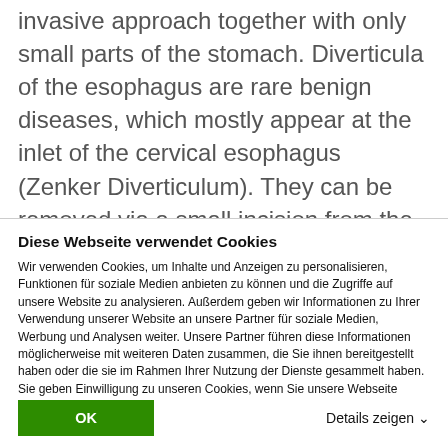invasive approach together with only small parts of the stomach. Diverticula of the esophagus are rare benign diseases, which mostly appear at the inlet of the cervical esophagus (Zenker Diverticulum). They can be removed via a small incision from the left side of the neck. Other diverticula are mostly located in the lower thoracic esophagus (Epiphrenic
Diese Webseite verwendet Cookies
Wir verwenden Cookies, um Inhalte und Anzeigen zu personalisieren, Funktionen für soziale Medien anbieten zu können und die Zugriffe auf unsere Website zu analysieren. Außerdem geben wir Informationen zu Ihrer Verwendung unserer Website an unsere Partner für soziale Medien, Werbung und Analysen weiter. Unsere Partner führen diese Informationen möglicherweise mit weiteren Daten zusammen, die Sie ihnen bereitgestellt haben oder die sie im Rahmen Ihrer Nutzung der Dienste gesammelt haben. Sie geben Einwilligung zu unseren Cookies, wenn Sie unsere Webseite weiterhin nutzen.